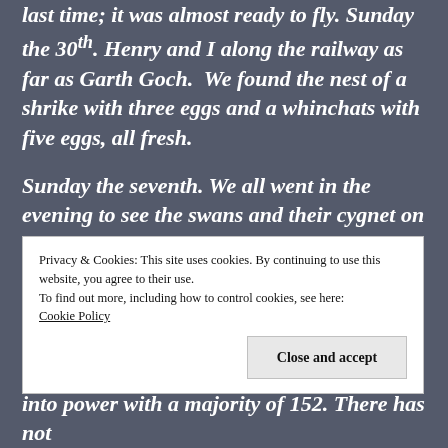Henry and I went to see the young cuckoo for the last time; it was almost ready to fly. Sunday the 30th. Henry and I along the railway as far as Garth Goch. We found the nest of a shrike with three eggs and a whinchats with five eggs, all fresh.
Sunday the seventh. We all went in the evening to see the swans and their cygnet on the river near Dolygadfa. The cygnet is much grown. It got onto its mother's back for a time. We came home by the village.
Privacy & Cookies: This site uses cookies. By continuing to use this website, you agree to their use.
To find out more, including how to control cookies, see here: Cookie Policy
Close and accept
into power with a majority of 152. There has not